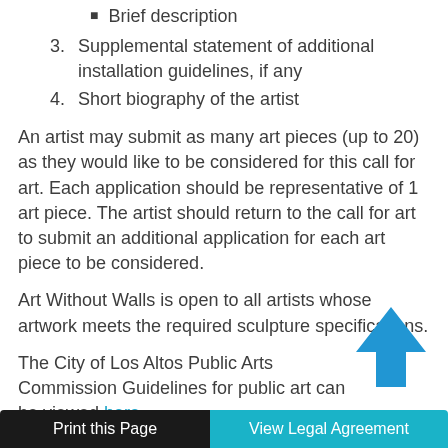Brief description
3. Supplemental statement of additional installation guidelines, if any
4. Short biography of the artist
An artist may submit as many art pieces (up to 20) as they would like to be considered for this call for art. Each application should be representative of 1 art piece. The artist should return to the call for art to submit an additional application for each art piece to be considered.
Art Without Walls is open to all artists whose artwork meets the required sculpture specifications.
The City of Los Altos Public Arts Commission Guidelines for public art can be viewed here.